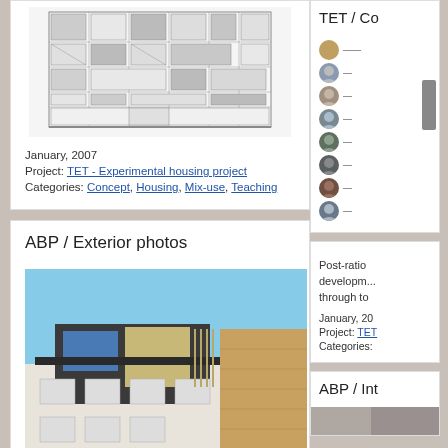[Figure (illustration): Architectural elevation drawing of a building facade with a grid of windows and panels]
January, 2007
Project: TET - Experimental housing project
Categories: Concept, Housing, Mix-use, Teaching
ABP / Exterior photos
[Figure (photo): Exterior photograph of a building roof extension with blue sky background, showing a modern addition atop an older brick building]
Final photographs of the roof extension
(3 images)
TET / Co
[Figure (photo): Sidebar showing small portrait thumbnails of people]
Post-ratio development through to
January, 20
Project: TET
Categories:
ABP / Int